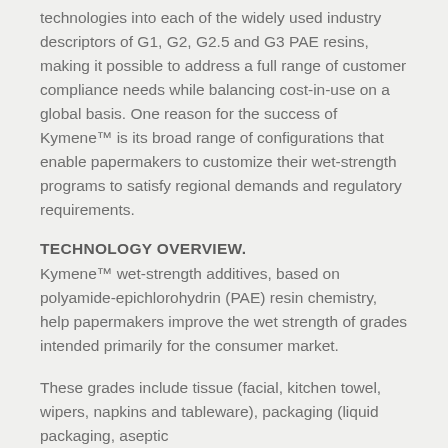technologies into each of the widely used industry descriptors of G1, G2, G2.5 and G3 PAE resins, making it possible to address a full range of customer compliance needs while balancing cost-in-use on a global basis. One reason for the success of Kymene™ is its broad range of configurations that enable papermakers to customize their wet-strength programs to satisfy regional demands and regulatory requirements.
TECHNOLOGY OVERVIEW.
Kymene™ wet-strength additives, based on polyamide-epichlorohydrin (PAE) resin chemistry, help papermakers improve the wet strength of grades intended primarily for the consumer market.
These grades include tissue (facial, kitchen towel, wipers, napkins and tableware), packaging (liquid packaging, aseptic